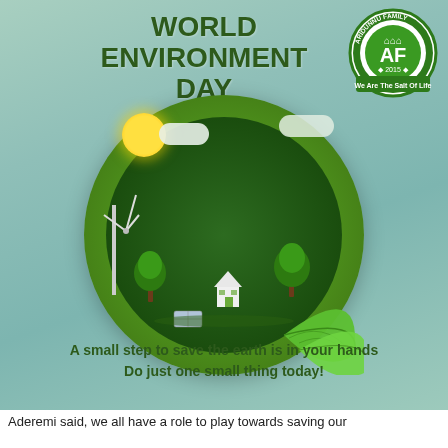WORLD ENVIRONMENT DAY
5th June
[Figure (illustration): Circular eco-themed illustration with globe, trees, house, wind turbine, sun, clouds, and green leaves. Aridunnu Family AF 2015 logo badge in top right corner.]
A small step to save the earth is in your hands
Do just one small thing today!
Aderemi said, we all have a role to play towards saving our